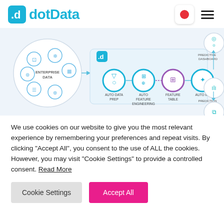dotData
[Figure (infographic): dotData platform pipeline diagram showing Enterprise Data circle with icons, flowing through Auto Data Prep, Auto Feature Engineering, Feature Table, Auto ML steps, with outputs to Predictive Dashboard and Prediction API]
We use cookies on our website to give you the most relevant experience by remembering your preferences and repeat visits. By clicking “Accept All”, you consent to the use of ALL the cookies. However, you may visit “Cookie Settings” to provide a controlled consent. Read More
Cookie Settings
Accept All